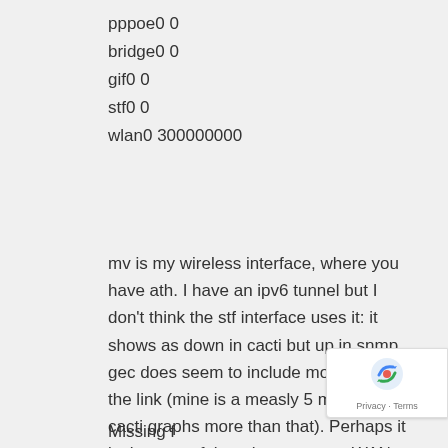pppoe0 0
bridge0 0
gif0 0
stf0 0
wlan0 300000000
mv is my wireless interface, where you have ath. I have an ipv6 tunnel but I don't think the stf interface uses it: it shows as down in cacti but up in snmp. gec does seem to include more than just the link (mine is a measly 5 mbits but cacti graphs more than that). Perhaps it is the sum of the ethernet ports, WAN and LAN.
Missing footer text continues...